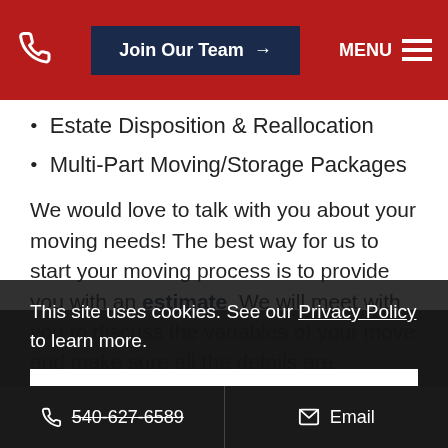Join Our Team | MENU
Estate Disposition & Reallocation
Multi-Part Moving/Storage Packages
We would love to talk with you about your moving needs! The best way for us to start your moving process is to provide you with an estimate. We will meet with you to discuss the variables of your move and make sure all the details are addressed. And don't forget to check out our Moving Guide and va...
This site uses cookies. See our Privacy Policy to learn more.
Okay, Got it
540-627-6589  Email